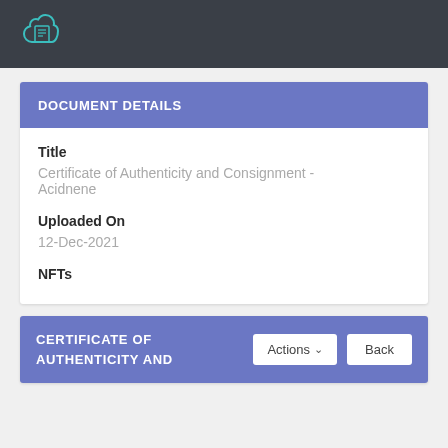[Figure (logo): Cloud document icon in teal outline style on dark navbar]
DOCUMENT DETAILS
Title
Certificate of Authenticity and Consignment - Acidnene
Uploaded On
12-Dec-2021
NFTs
CERTIFICATE OF AUTHENTICITY AND
Actions
Back